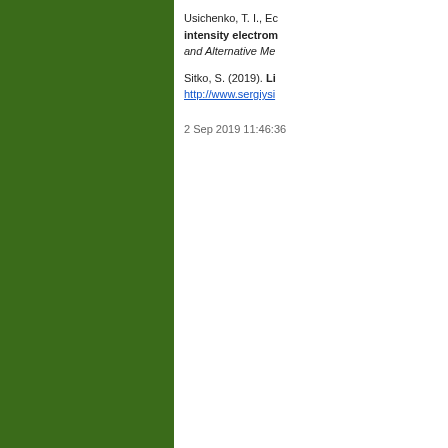Usichenko, T. I., Ec... intensity electrom... and Alternative Me...
Sitko, S. (2019). Li... http://www.sergiys...
2 Sep 2019 11:46:36
Com...
The comments to t...
Pl...
Maailman Rikkain... muokkaamassa T... ensiksi lasten riskiä...